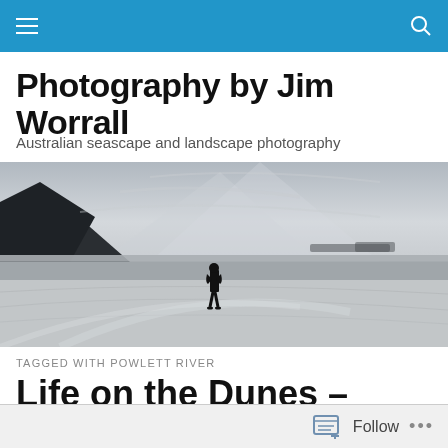Navigation bar with hamburger menu and search icon
Photography by Jim Worrall
Australian seascape and landscape photography
[Figure (photo): Black and white landscape photo of a person standing alone on a wide sandy beach with rocky headland in the background and smooth long-exposure water/sand in foreground]
TAGGED WITH POWLETT RIVER
Life on the Dunes – Powlett River
Follow ...